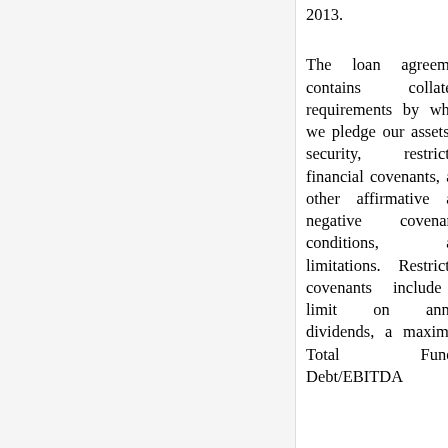2013.
The loan agreement contains collateral requirements by which we pledge our assets as security, restrictive financial covenants, and other affirmative and negative covenants, conditions, and limitations. Restrictive covenants include a limit on annual dividends, a maximum Total Funded Debt/EBITDA